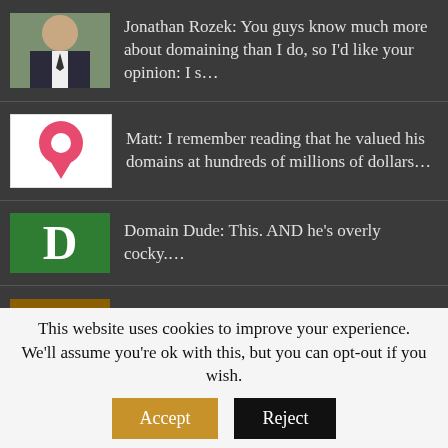Jonathan Rozek: You guys know much more about domaining than I do, so I'd like your opinion: I s...
Matt: I remember reading that he valued his domains at hundreds of millions of dollars...
Domain Dude: This. AND he's overly cocky....
K.J.Haroon Basha: Revenue from Godaddy parking will be negligible. Bodis is generous in sharing re...
K.J.Haroon Basha: Revenue from Godaddy parking will be negligible. Bodis is generous in Sedo and G...
This website uses cookies to improve your experience. We'll assume you're ok with this, but you can opt-out if you wish.
Accept
Reject